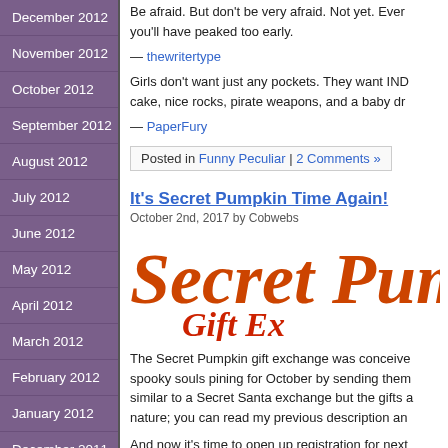December 2012
November 2012
October 2012
September 2012
August 2012
July 2012
June 2012
May 2012
April 2012
March 2012
February 2012
January 2012
December 2011
November 2011
October 2011
Be afraid. But don't be very afraid. Not yet. Every you'll have peaked too early.
— thewritertype
Girls don't want just any pockets. They want IND cake, nice rocks, pirate weapons, and a baby dr
— PaperFury
Posted in Funny Peculiar | 2 Comments »
It's Secret Pumpkin Time Again!
October 2nd, 2017 by Cobwebs
[Figure (illustration): Secret Pumpkin Gift Exchange logo in orange and red gothic/italic font]
The Secret Pumpkin gift exchange was conceive spooky souls pining for October by sending them similar to a Secret Santa exchange but the gifts a nature; you can read my previous description an
And now it's time to open up registration for next participate, go to the Secret Pumpkin site:
1) If you did not participate last year, click the "Jo
2) If you DID participate last year, log in, click the the "Activate My Membership" option to Yes.